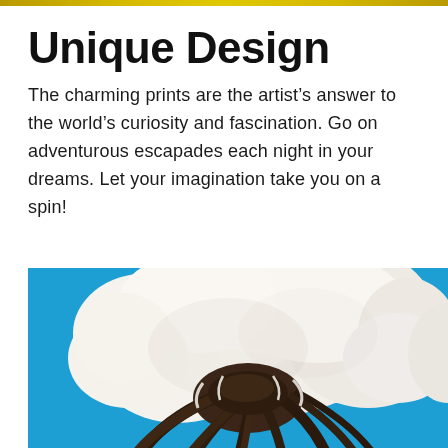Unique Design
The charming prints are the artist's answer to the world's curiosity and fascination. Go on adventurous escapades each night in your dreams. Let your imagination take you on a spin!
[Figure (photo): A white fluffy cotton boll in full bloom, showing brown seed pods and fibers, against a bright blue background.]